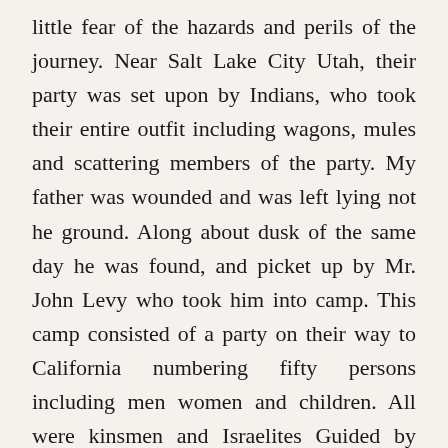little fear of the hazards and perils of the journey. Near Salt Lake City Utah, their party was set upon by Indians, who took their entire outfit including wagons, mules and scattering members of the party. My father was wounded and was left lying not he ground. Along about dusk of the same day he was found, and picket up by Mr. John Levy who took him into camp. This camp consisted of a party on their way to California numbering fifty persons including men women and children. All were kinsmen and Israelites Guided by Providence. They proceeded on their journey and arrived in S.F. Sept. 8 1850. The party scattered to all parts of Cal. Some went to Oregon. My father remained in San Francisco. When I think of this brave band of energetic, resolute men and